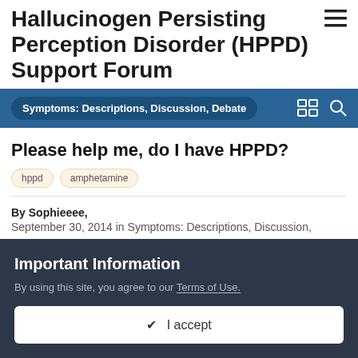Hallucinogen Persisting Perception Disorder (HPPD) Support Forum
Symptoms: Descriptions, Discussion, Debate
Please help me, do I have HPPD?
hppd
amphetamine
By Sophieeee, September 30, 2014 in Symptoms: Descriptions, Discussion, Debate
Sophieeee
Important Information
By using this site, you agree to our Terms of Use.
✔ I accept